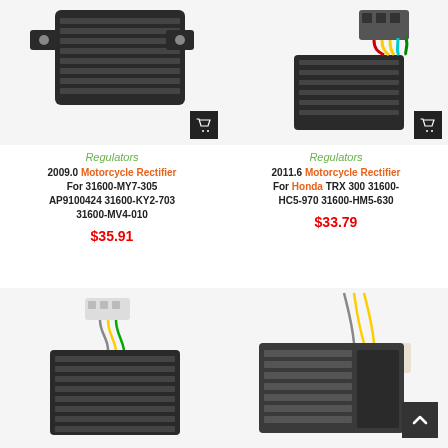[Figure (photo): Motorcycle rectifier/regulator – black finned unit, product photo on white background]
[Figure (photo): Motorcycle rectifier/regulator with colored wires (red, yellow, green, teal), product photo on white background]
Regulators
Regulators
2009.0 Motorcycle Rectifier For 31600-MY7-305 AP9100424 31600-KY2-703 31600-MV4-010
2011.6 Motorcycle Rectifier For Honda TRX 300 31600-HC5-970 31600-HM5-630
$35.91
$33.79
[Figure (photo): Motorcycle rectifier/regulator with white connector and yellow/green wires]
[Figure (photo): Motorcycle rectifier/regulator with yellow wires and white connector, wider unit]